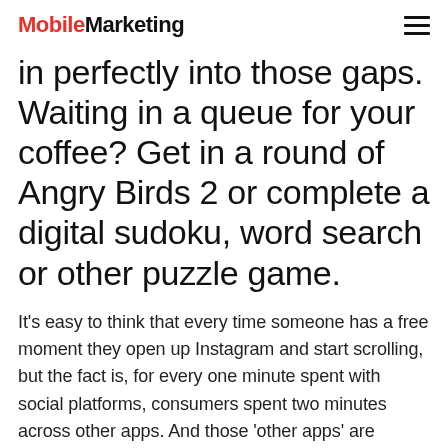MobileMarketing
in perfectly into those gaps. Waiting in a queue for your coffee? Get in a round of Angry Birds 2 or complete a digital sudoku, word search or other puzzle game.
It's easy to think that every time someone has a free moment they open up Instagram and start scrolling, but the fact is, for every one minute spent with social platforms, consumers spent two minutes across other apps. And those 'other apps' are predominantly games. According to On Device Mobile Gaming Research, nine out of 10 UK adults